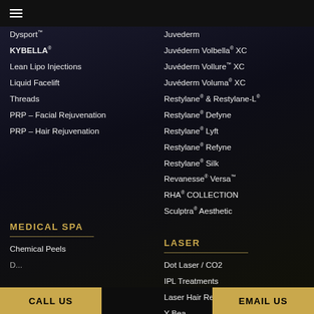☰
Dysport™
KYBELLA®
Lean Lipo Injections
Liquid Facelift
Threads
PRP – Facial Rejuvenation
PRP – Hair Rejuvenation
Juvederm
Juvéderm Volbella® XC
Juvéderm Vollure™ XC
Juvéderm Voluma® XC
Restylane® & Restylane-L®
Restylane® Defyne
Restylane® Lyft
Restylane® Refyne
Restylane® Silk
Revanesse® Versa™
RHA® COLLECTION
Sculptra® Aesthetic
MEDICAL SPA
LASER
Chemical Peels
Dot Laser / CO2
IPL Treatments
Laser Hair Removal
CALL US
EMAIL US